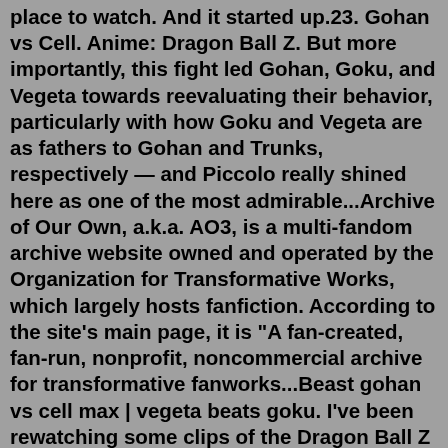place to watch. And it started up.23. Gohan vs Cell. Anime: Dragon Ball Z. But more importantly, this fight led Gohan, Goku, and Vegeta towards reevaluating their behavior, particularly with how Goku and Vegeta are as fathers to Gohan and Trunks, respectively — and Piccolo really shined here as one of the most admirable...Archive of Our Own, a.k.a. AO3, is a multi-fandom archive website owned and operated by the Organization for Transformative Works, which largely hosts fanfiction. According to the site's main page, it is "A fan-created, fan-run, nonprofit, noncommercial archive for transformative fanworks...Beast gohan vs cell max | vegeta beats goku. I've been rewatching some clips of the Dragon Ball Z dub, and one of them was Gohan vs. Cell. I remembered being so hyped when I first watched Gohan unleashing his power, and looking forward to seeing him whoop Cell's butt.For Dragon Ball: Xenoverse on the PlayStation 4, a GameFAQs message board topic titled "they should kill off videl" - Page 3.They are from the first time meeting gohan